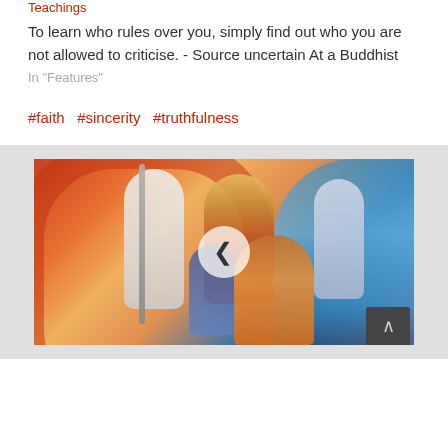Teachings
To learn who rules over you, simply find out who you are not allowed to criticise. - Source uncertain At a Buddhist
In "Features"
#faith  #sincerity  #truthfulness
[Figure (photo): Movie poster showing fantasy characters including a white-robed figure with staff, a woman with elaborate crown/headdress, a monkey king character in foreground, and other figures against a dramatic sky and ocean backdrop. A semi-transparent left navigation arrow is overlaid in the center.]